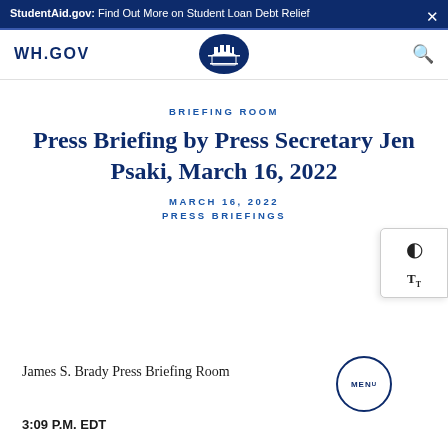StudentAid.gov: Find Out More on Student Loan Debt Relief
[Figure (logo): WH.GOV navigation bar with White House seal logo and search icon]
BRIEFING ROOM
Press Briefing by Press Secretary Jen Psaki, March 16, 2022
MARCH 16, 2022
PRESS BRIEFINGS
James S. Brady Press Briefing Room
3:09 P.M. EDT